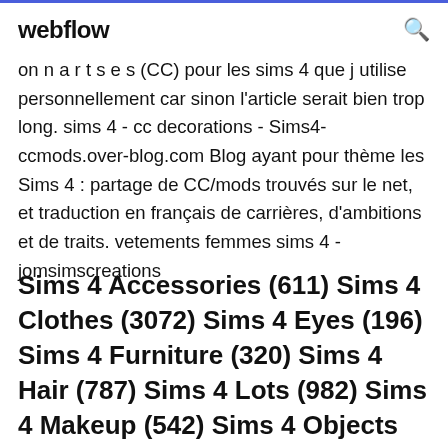webflow
on n a r t s e s (CC) pour les sims 4 que j utilise personnellement car sinon l'article serait bien trop long. sims 4 - cc decorations - Sims4-ccmods.over-blog.com Blog ayant pour thème les Sims 4 : partage de CC/mods trouvés sur le net, et traduction en français de carrières, d'ambitions et de traits. vetements femmes sims 4 - jomsimscreations
Sims 4 Accessories (611) Sims 4 Clothes (3072) Sims 4 Eyes (196) Sims 4 Furniture (320) Sims 4 Hair (787) Sims 4 Lots (982) Sims 4 Makeup (542) Sims 4 Objects